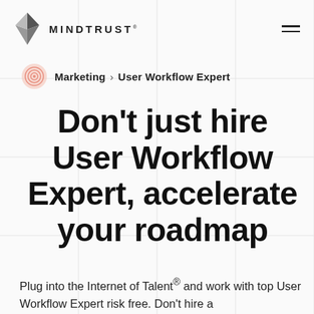MINDTRUST
Marketing > User Workflow Expert
Don't just hire User Workflow Expert, accelerate your roadmap
Plug into the Internet of Talent® and work with top User Workflow Expert risk free. Don't hire a